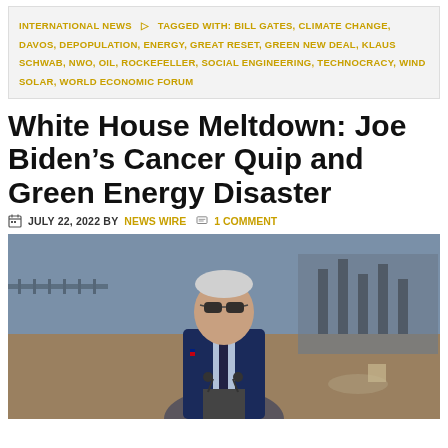INTERNATIONAL NEWS   TAGGED WITH: BILL GATES, CLIMATE CHANGE, DAVOS, DEPOPULATION, ENERGY, GREAT RESET, GREEN NEW DEAL, KLAUS SCHWAB, NWO, OIL, ROCKEFELLER, SOCIAL ENGINEERING, TECHNOCRACY, WIND SOLAR, WORLD ECONOMIC FORUM
White House Meltdown: Joe Biden’s Cancer Quip and Green Energy Disaster
JULY 22, 2022 BY NEWS WIRE   1 COMMENT
[Figure (photo): Photo of Joe Biden wearing sunglasses, standing at a podium with microphones at an outdoor construction site, with industrial structures in the background.]